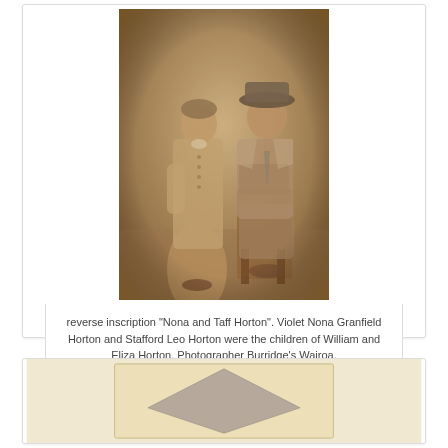[Figure (photo): Sepia-toned formal portrait photograph of two people: a woman standing on the left wearing a long dress/skirt and buttoned jacket, and a man seated on the right wearing a hat and suit. Studio photograph by Burridge's Wairoa.]
reverse inscription "Nona and Taff Horton". Violet Nona Granfield Horton and Stafford Leo Horton were the children of William and Eliza Horton. Photographer Burridge's Wairoa.
[Figure (photo): Partial view of what appears to be an old envelope or document with a triangular/diamond shape visible, cream/beige colored paper.]